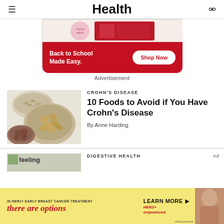Health
[Figure (other): Target advertisement: Back to School Made Easy. Shop Now button on red background with product images.]
Advertisement
CROHN'S DISEASE
10 Foods to Avoid if You Have Crohn's Disease
By Anne Harding
DIGESTIVE HEALTH
[Figure (other): Bottom banner ad: HER2+ early breast cancer treatment - there are options. Learn More. HER2+ empowered. Actor portrayal.]